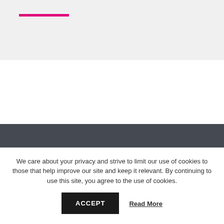[Figure (other): Pink horizontal decorative line on light gray background header area]
Sign up for our e-newsletter
We care about your privacy and strive to limit our use of cookies to those that help improve our site and keep it relevant. By continuing to use this site, you agree to the use of cookies.
ACCEPT
Read More